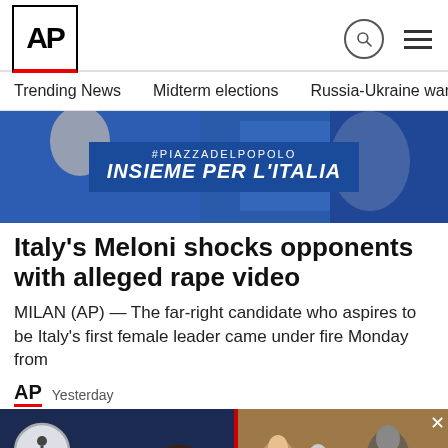AP
Trending News   Midterm elections   Russia-Ukraine war   Dona
[Figure (photo): Blue banner with text #PIAZZADELPOPOLO and INSIEME PER L'ITALIA at a political rally]
Italy's Meloni shocks opponents with alleged rape video
MILAN (AP) — The far-right candidate who aspires to be Italy's first female leader came under fire Monday from
AP   Yesterday
[Figure (photo): Woman with dark hair at a political event, partially visible]
[Figure (photo): DeSantis rival popup card showing people at a political event with text: DeSantis rival to emerge from high-stakes Florid...]